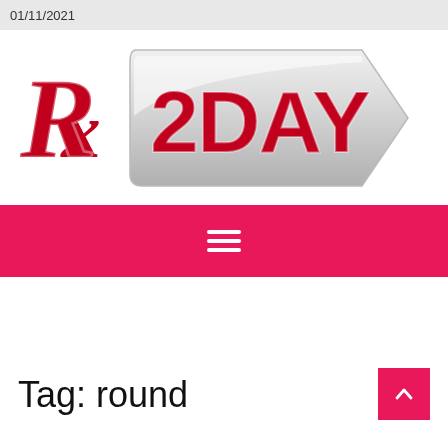01/11/2021
[Figure (logo): Rx 2DAY pharmacy logo — a red cursive Rx symbol on the left and a silver arrow-shaped badge with bold red '2DAY' text on the right]
[Figure (infographic): Red navigation bar with white hamburger menu icon (three horizontal lines)]
Tag: round